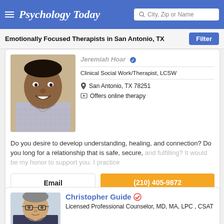Psychology Today — City, Zip or Name search
Emotionally Focused Therapists in San Antonio, TX
[Figure (photo): Headshot of a Black man smiling, wearing a plaid shirt]
Clinical Social Work/Therapist, LCSW
San Antonio, TX 78251
Offers online therapy
Do you desire to develop understanding, healing, and connection? Do you long for a relationship that is safe, secure, and fulfilling? It would be my honor to support you. I practice
Email
(210) 405-9872
[Figure (photo): Headshot of a middle-aged white man with glasses]
Christopher Guide
Licensed Professional Counselor, MD, MA, LPC , CSAT